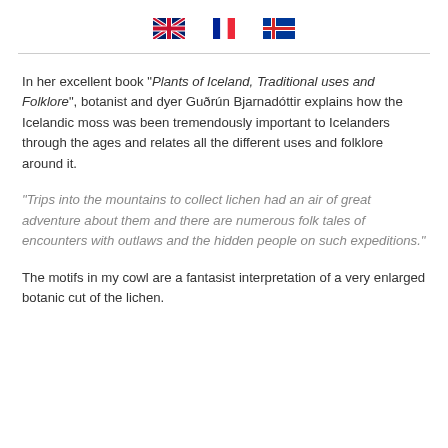[UK flag] [French flag] [Icelandic flag]
In her excellent book “Plants of Iceland, Traditional uses and Folklore”, botanist and dyer Guðrún Bjarnadóttir explains how the Icelandic moss was been tremendously important to Icelanders through the ages and relates all the different uses and folklore around it.
“Trips into the mountains to collect lichen had an air of great adventure about them and there are numerous folk tales of encounters with outlaws and the hidden people on such expeditions.”
The motifs in my cowl are a fantasist interpretation of a very enlarged botanic cut of the lichen.